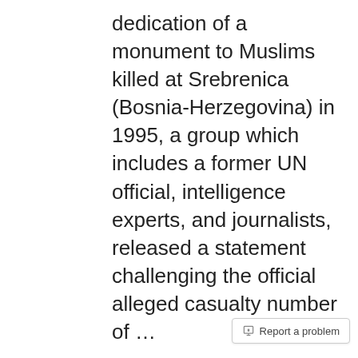dedication of a monument to Muslims killed at Srebrenica (Bosnia-Herzegovina) in 1995, a group which includes a former UN official, intelligence experts, and journalists, released a statement challenging the official alleged casualty number of …
The Crucifixion of Jews Must Stop!
Dec. 25, 2012, 6 p.m. | by Mark Weber
Half a century before the "Holocaust" term came into widespread use, and 15 before the incessantly
Report a problem